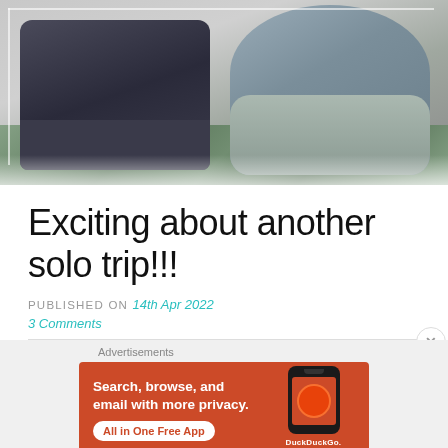[Figure (photo): Two backpacks resting on a marble/granite floor surface. Left backpack is dark navy/black with textured pattern, right backpack is grey/light blue sling style. Photo taken from above at slight angle.]
Exciting about another solo trip!!!
PUBLISHED ON 14th Apr 2022
3 Comments
[Figure (screenshot): DuckDuckGo advertisement banner with orange/red background. Text reads: 'Search, browse, and email with more privacy. All in One Free App' with DuckDuckGo logo and phone image on right side.]